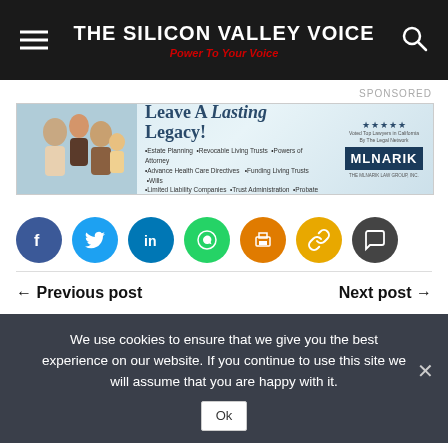THE SILICON VALLEY VOICE — Power To Your Voice
SPONSORED
[Figure (illustration): Advertisement banner for Mlnarik Law Group: Leave A Lasting Legacy! with family photo and services listed including Estate Planning, Revocable Living Trusts, Powers of Attorney, Advance Health Care Directives, Funding Living Trusts, Wills, Limited Liability Companies, Trust Administration, Probate.]
[Figure (infographic): Row of social media sharing icons: Facebook (blue), Twitter (light blue), LinkedIn (dark blue), WhatsApp (green), Print (orange), Copy Link (yellow), Comment (dark gray)]
← Previous post
Next post →
We use cookies to ensure that we give you the best experience on our website. If you continue to use this site we will assume that you are happy with it.